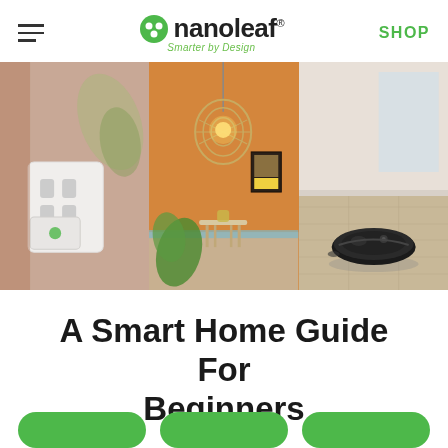nanoleaf — Smarter by Design | SHOP
[Figure (photo): Three-panel image strip: left panel shows a white smart outlet/plug on a wall with warm lighting; center panel shows a pendant lamp with a wicker shade over a small table with plants, orange wall background; right panel shows a black Roomba robot vacuum on a light wood floor.]
A Smart Home Guide For Beginners